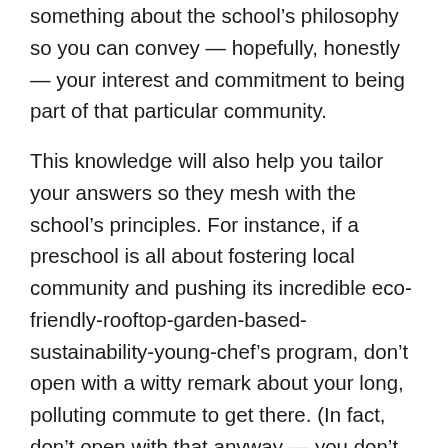something about the school's philosophy so you can convey — hopefully, honestly — your interest and commitment to being part of that particular community.
This knowledge will also help you tailor your answers so they mesh with the school's principles. For instance, if a preschool is all about fostering local community and pushing its incredible eco-friendly-rooftop-garden-based-sustainability-young-chef's program, don't open with a witty remark about your long, polluting commute to get there. (In fact, don't open with that anyway — you don't want them to think you'll end up transferring to a school around the corner from where you live.) Instead, focus on how you cultivate your own single-origin herbs and teach your